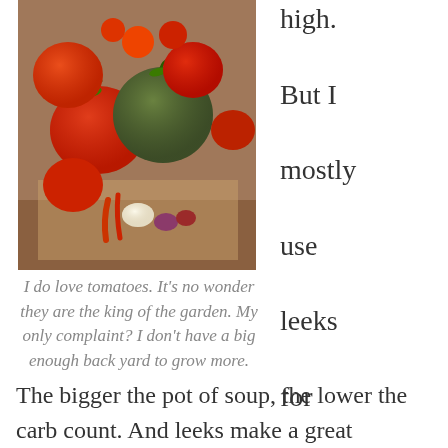[Figure (photo): A pile of various tomatoes (red and dark/green heirloom varieties) along with shallots and other vegetables on a brown surface.]
I do love tomatoes. It’s no wonder they are the king of the garden. My only complaint? I don’t have a big enough back yard to grow more.
high. But I mostly use leeks for flavoring a big pot of soup.
The bigger the pot of soup, the lower the carb count. And leeks make a great roasting rack with